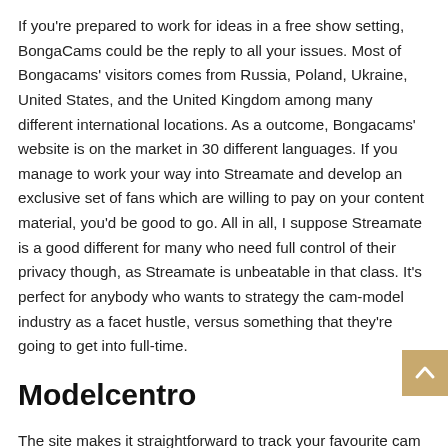If you're prepared to work for ideas in a free show setting, BongaCams could be the reply to all your issues. Most of Bongacams' visitors comes from Russia, Poland, Ukraine, United States, and the United Kingdom among many different international locations. As a outcome, Bongacams' website is on the market in 30 different languages. If you manage to work your way into Streamate and develop an exclusive set of fans which are willing to pay on your content material, you'd be good to go. All in all, I suppose Streamate is a good different for many who need full control of their privacy though, as Streamate is unbeatable in that class. It's perfect for anybody who wants to strategy the cam-model industry as a facet hustle, versus something that they're going to get into full-time.
Modelcentro
The site makes it straightforward to track your favourite cam models, as you can save them or even look back by way of your viewing historical past to search out the ones that stood out to you. Almost